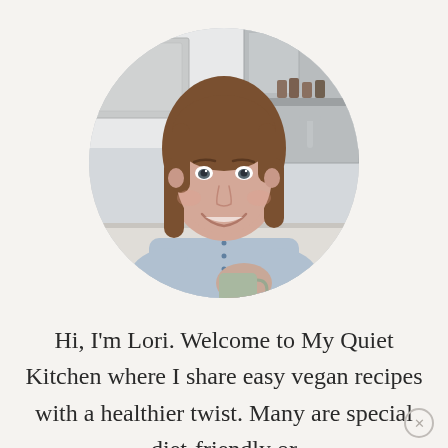[Figure (photo): Circular cropped portrait photo of a woman with shoulder-length brown hair, smiling, wearing a light blue chambray shirt, holding a green/sage mug in a modern kitchen setting with stainless steel appliances in the background.]
Hi, I'm Lori. Welcome to My Quiet Kitchen where I share easy vegan recipes with a healthier twist. Many are special diet-friendly or
easily adapted. I also have a